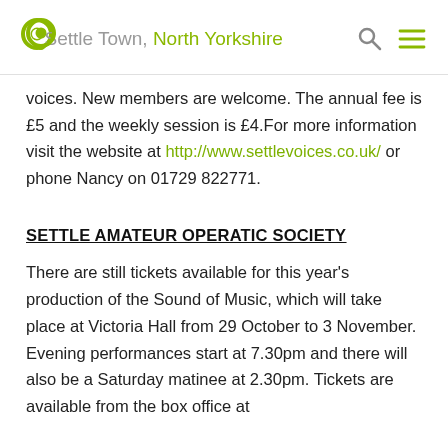Settle Town, North Yorkshire
voices. New members are welcome. The annual fee is £5 and the weekly session is £4.For more information visit the website at http://www.settlevoices.co.uk/ or phone Nancy on 01729 822771.
SETTLE AMATEUR OPERATIC SOCIETY
There are still tickets available for this year's production of the Sound of Music, which will take place at Victoria Hall from 29 October to 3 November.  Evening performances start at 7.30pm and there will also be a Saturday matinee at 2.30pm.  Tickets are available from the box office at